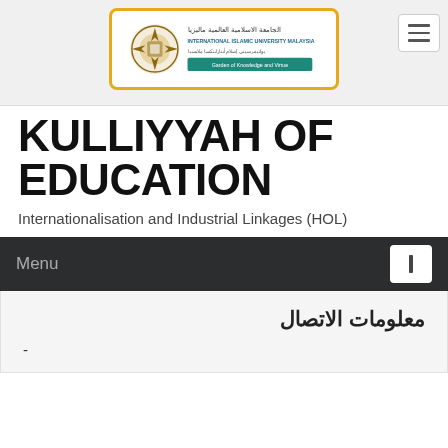[Figure (logo): International Islamic University Malaysia (IIUM) logo with Arabic text and tagline 'Garden of Knowledge and Virtue']
KULLIYYAH OF EDUCATION
Internationalisation and Industrial Linkages (HOL)
Menu
معلومات الاتصال
-